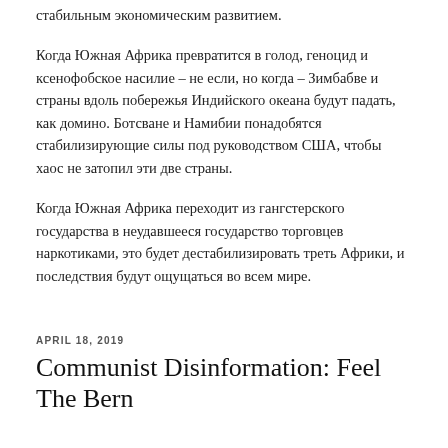стабильным экономическим развитием.
Когда Южная Африка превратится в голод, геноцид и ксенофобское насилие – не если, но когда – Зимбабве и страны вдоль побережья Индийского океана будут падать, как домино. Ботсване и Намибии понадобятся стабилизирующие силы под руководством США, чтобы хаос не затопил эти две страны.
Когда Южная Африка переходит из гангстерского государства в неудавшееся государство торговцев наркотиками, это будет дестабилизировать треть Африки, и последствия будут ощущаться во всем мире.
APRIL 18, 2019
Communist Disinformation: Feel The Bern